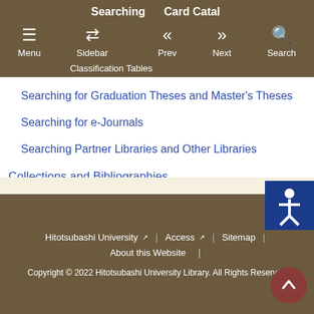Menu | Sidebar | Prev | Next | Search
Searching for Graduation Theses and Master's Theses
Searching for e-Journals
Searching Partner Libraries and Other Libraries
Collections and Bibliographies
Collections
The list of bibliographies by persons related Hitotsubashi University
Hitotsubashi University | Access | Sitemap | About this Website | Copyright © 2022 Hitotsubashi University Library. All Rights Reserved